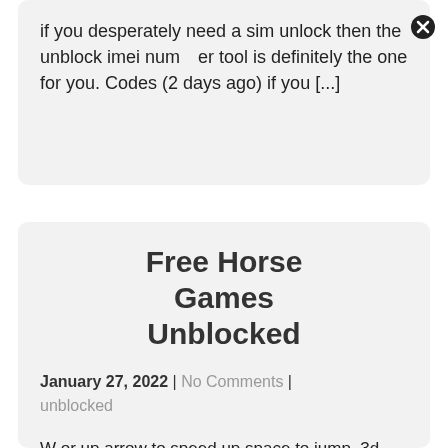if you desperately need a sim unlock then the unblock imei number tool is definitely the one for you. Codes (2 days ago) if you [...]
Free Horse Games Unblocked
January 27, 2022 | No Comments | unblocked
W or up arrow to speed up space to jump. 3d horse jumping game online for free: nice